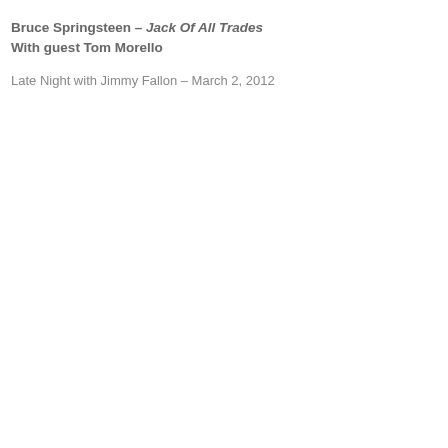Bruce Springsteen – Jack Of All Trades With guest Tom Morello
Late Night with Jimmy Fallon – March 2, 2012